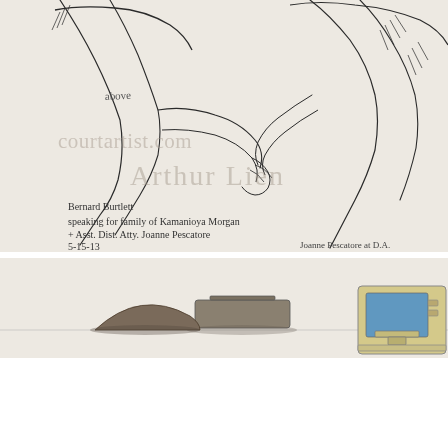[Figure (illustration): Court artist sketch (pen and ink) showing two figures shaking hands or interacting closely — upper bodies of two men in suits, one viewed from behind. Handwritten annotations identifying subjects: 'above', 'Bernard Burtlett speaking for family of Kamanioya Morgan' and 'Asst. Dist. Atty. Joanne Pescatore' dated 5-15-13. Watermark text 'courtartist.com' and 'Arthur Lien' overlaid. Below is a second partial sketch showing objects on a table including what appears to be a laptop/briefcase and a television set with color wash.]
Bernard Burtlett speaking for family of Kamanioya Morgan & Asst. Dist. Atty. Joanne Pescatore 5-15-13    Joanne Pescatore at D.A.